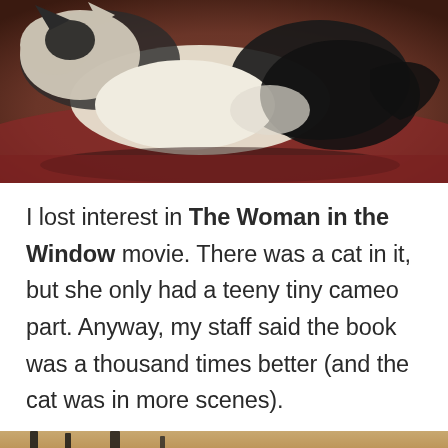[Figure (photo): A black and white cat lying on a dark reddish-brown surface, photographed from above/side. The cat's white and black fur is visible with the cat relaxing/lounging.]
I lost interest in The Woman in the Window movie. There was a cat in it, but she only had a teeny tiny cameo part. Anyway, my staff said the book was a thousand times better (and the cat was in more scenes).
[Figure (photo): Partial view of a wooden surface with dark objects, cropped at bottom of page.]